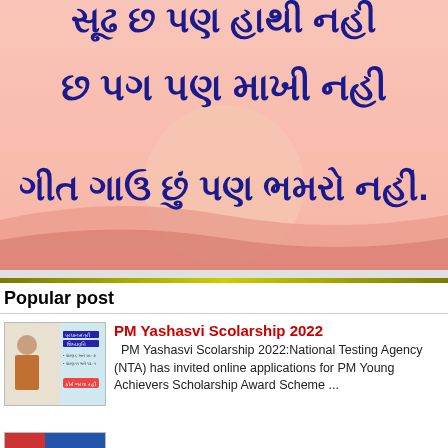[Figure (illustration): Gujarati text poem/quote on a pink/peach gradient background with wave shapes and a sun. Text reads in Gujarati script: first line partially visible, second line 'છ પગ પણ માખી નહી', third line 'ગીત ગાઉ છું પણ ભમરો નહીં.' Bold dark navy blue text on pink background.]
Popular post
[Figure (photo): Thumbnail image showing PM scholarship scheme information in Gujarati with a person in the background.]
PM Yashasvi Scolarship 2022
PM Yashasvi Scolarship 2022:National Testing Agency (NTA) has invited online applications for PM Young Achievers Scholarship Award Scheme ...
[Figure (photo): Partial thumbnail image at the bottom, partially visible.]